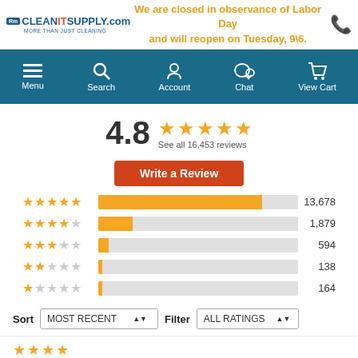CleanItSupply.com — MORE THAN JUST CLEANING | We are closed in observance of Labor Day and will reopen on Tuesday, 9\6.
[Figure (screenshot): Website navigation bar with Menu, Search, Account, Chat, View Cart icons on teal background]
4.8  ★★★★★  See all 16,453 reviews
Write a Review
[Figure (bar-chart): Rating distribution]
Sort  MOST RECENT  Filter  ALL RATINGS